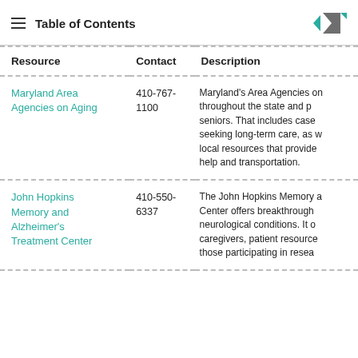Table of Contents
| Resource | Contact | Description |
| --- | --- | --- |
| Maryland Area Agencies on Aging | 410-767-1100 | Maryland's Area Agencies on Aging are located throughout the state and provide services for seniors. That includes case management for those seeking long-term care, as well as connections to local resources that provide services like meal help and transportation. |
| John Hopkins Memory and Alzheimer's Treatment Center | 410-550-6337 | The John Hopkins Memory and Alzheimer's Center offers breakthrough care for those with neurological conditions. It offers support for caregivers, patient resources, and care options for those participating in research. |